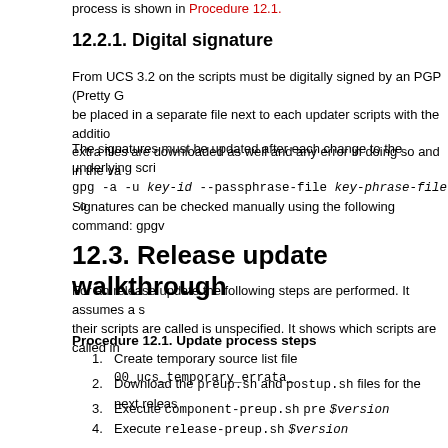process is shown in Procedure 12.1.
12.2.1. Digital signature
From UCS 3.2 on the scripts must be digitally signed by an PGP (Pretty Good Privacy) key. The signature must be placed in a separate file next to each updater scripts with the additional suffix .gpg. These extra files are downloaded as well and any error in doing so and in the va...
The signatures must be updated after each change to the underlying scripts. This can be done with: gpg -a -u key-id --passphrase-file key-phrase-file -o ...
Signatures can be checked manually using the following command: gpgv...
12.3. Release update walkthrough
For an release update the following steps are performed. It assumes a s... their scripts are called is unspecified. It shows which scripts are called in...
Procedure 12.1. Update process steps
1. Create temporary source list file 00_ucs_temporary_errata_...
2. Download the preup.sh and postup.sh files for the next releas...
3. Execute component-preup.sh pre $version
4. Execute release-preup.sh $version
5. Execute component-preup.sh post $version